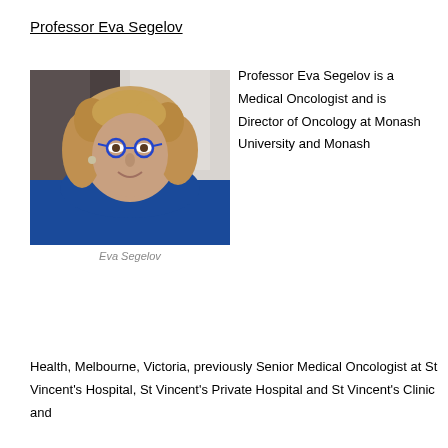Professor Eva Segelov
[Figure (photo): Portrait photo of Professor Eva Segelov, a woman with curly blonde hair wearing blue-framed round glasses and a blue blazer, smiling]
Eva Segelov
Professor Eva Segelov is a Medical Oncologist and is Director of Oncology at Monash University and Monash Health, Melbourne, Victoria, previously Senior Medical Oncologist at St Vincent's Hospital, St Vincent's Private Hospital and St Vincent's Clinic and